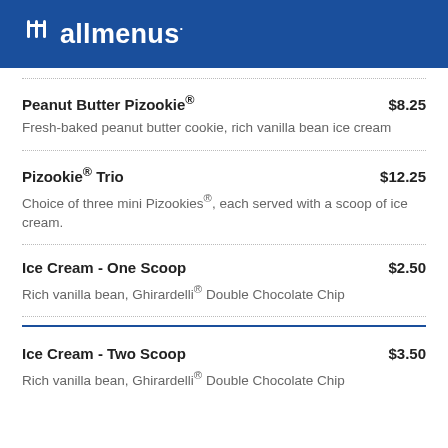allmenus
Peanut Butter Pizookie® $8.25 — Fresh-baked peanut butter cookie, rich vanilla bean ice cream
Pizookie® Trio $12.25 — Choice of three mini Pizookies®, each served with a scoop of ice cream.
Ice Cream - One Scoop $2.50 — Rich vanilla bean, Ghirardelli® Double Chocolate Chip
Ice Cream - Two Scoop $3.50 — Rich vanilla bean, Ghirardelli® Double Chocolate Chip